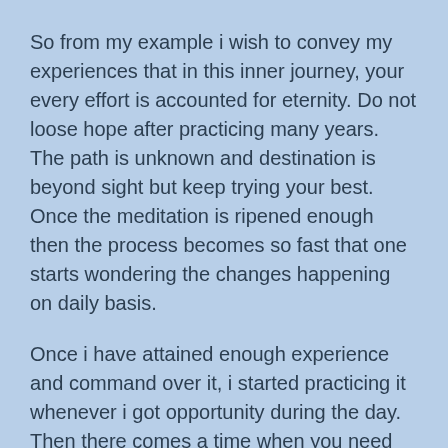So from my example i wish to convey my experiences that in this inner journey, your every effort is accounted for eternity. Do not loose hope after practicing many years. The path is unknown and destination is beyond sight but keep trying your best. Once the meditation is ripened enough then the process becomes so fast that one starts wondering the changes happening on daily basis.
Once i have attained enough experience and command over it, i started practicing it whenever i got opportunity during the day. Then there comes a time when you need not have to even think of it. Meditation becomes part and parcel of your life and Youtube video of world record to know how one can walk without any outside help.
But it does not mean that the opposite in your life